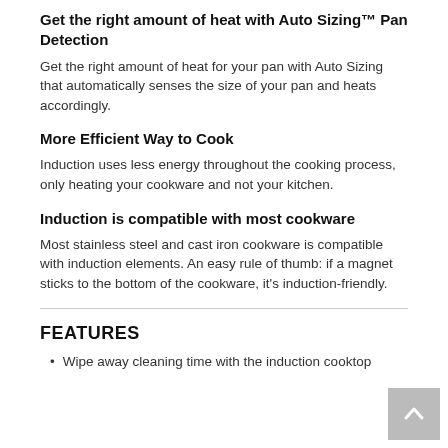Get the right amount of heat with Auto Sizing™ Pan Detection
Get the right amount of heat for your pan with Auto Sizing that automatically senses the size of your pan and heats accordingly.
More Efficient Way to Cook
Induction uses less energy throughout the cooking process, only heating your cookware and not your kitchen.
Induction is compatible with most cookware
Most stainless steel and cast iron cookware is compatible with induction elements. An easy rule of thumb: if a magnet sticks to the bottom of the cookware, it's induction-friendly.
FEATURES
Wipe away cleaning time with the induction cooktop